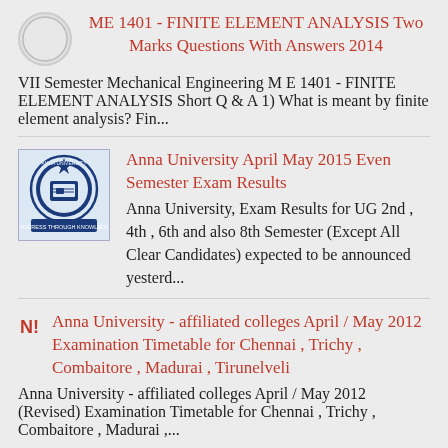ME 1401 - FINITE ELEMENT ANALYSIS Two Marks Questions With Answers 2014
VII Semester Mechanical Engineering M E 1401 - FINITE ELEMENT ANALYSIS Short Q & A 1) What is meant by finite element analysis? Fin...
Anna University April May 2015 Even Semester Exam Results
Anna University, Exam Results for UG 2nd , 4th , 6th and also 8th Semester (Except All Clear Candidates) expected to be announced yesterd...
Anna University - affiliated colleges April / May 2012 Examination Timetable for Chennai , Trichy , Combaitore , Madurai , Tirunelveli
Anna University - affiliated colleges April / May 2012 (Revised) Examination Timetable for Chennai , Trichy , Combaitore , Madurai ,...